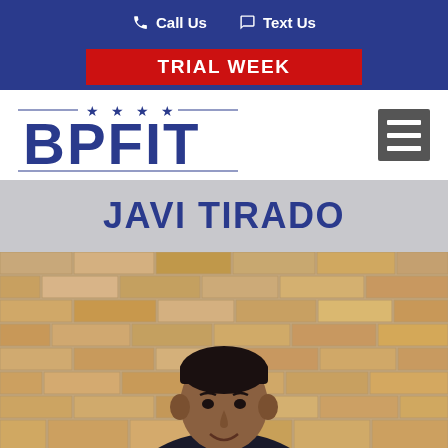Call Us  Text Us
TRIAL WEEK
[Figure (logo): BPFIT logo with stars above, blue text on white background, and a hamburger menu icon on the right]
JAVI TIRADO
[Figure (photo): Man standing in front of a brick wall, smiling, dark hair, close-up portrait shot]